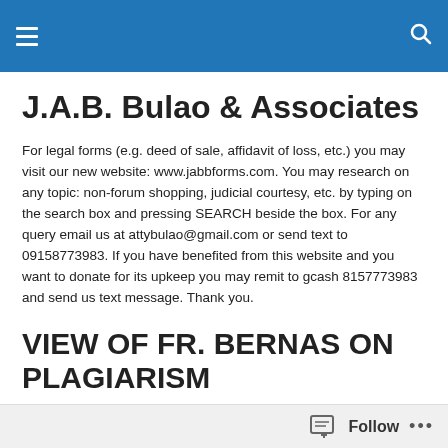J.A.B. Bulao & Associates
J.A.B. Bulao & Associates
For legal forms (e.g. deed of sale, affidavit of loss, etc.) you may visit our new website: www.jabbforms.com. You may research on any topic: non-forum shopping, judicial courtesy, etc. by typing on the search box and pressing SEARCH beside the box. For any query email us at attybulao@gmail.com or send text to 09158773983. If you have benefited from this website and you want to donate for its upkeep you may remit to gcash 8157773983 and send us text message. Thank you.
VIEW OF FR. BERNAS ON PLAGIARISM
Follow